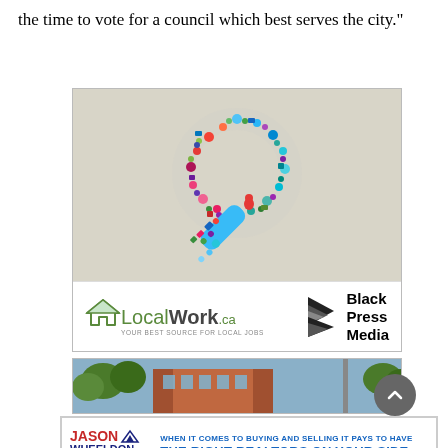the time to vote for a council which best serves the city."
[Figure (illustration): LocalWork.ca advertisement banner with a colorful magnifying glass made of social media icons on a beige/tan background, with LocalWork.ca logo and Black Press Media logo below]
[Figure (photo): Partial photo of a brick building with trees]
[Figure (infographic): Jason Wheeldon real estate advertisement: WHEN IT COMES TO BUYING AND SELLING IT PAYS TO HAVE THE RIGHT REALTORS ON YOUR SIDE.]